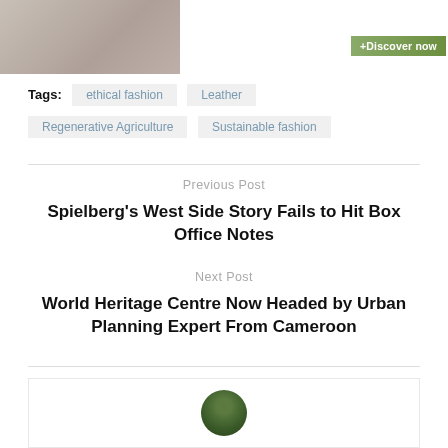[Figure (photo): Partial image of a person in white clothing, cropped at top]
+Discover now
Tags: ethical fashion   Leather   Regenerative Agriculture   Sustainable fashion
Previous Post
Spielberg's West Side Story Fails to Hit Box Office Notes
Next Post
World Heritage Centre Now Headed by Urban Planning Expert From Cameroon
[Figure (photo): Circular author avatar photo, partially visible at bottom of page]